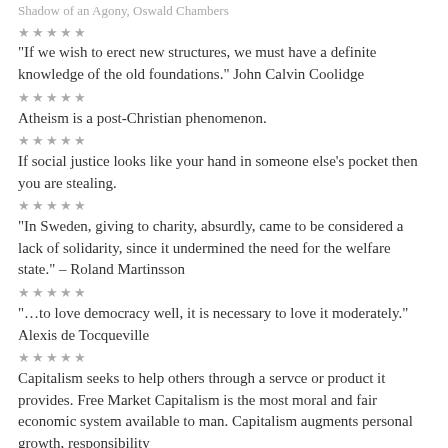Shadow of an Agony, Oswald Chambers
*****
“If we wish to erect new structures, we must have a definite knowledge of the old foundations.” John Calvin Coolidge
*****
Atheism is a post-Christian phenomenon.
*****
If social justice looks like your hand in someone else’s pocket then you are stealing.
*****
“In Sweden, giving to charity, absurdly, came to be considered a lack of solidarity, since it undermined the need for the welfare state.” – Roland Martinsson
*****
“…to love democracy well, it is necessary to love it moderately.” Alexis de Tocqueville
*****
Capitalism seeks to help others through a servce or product it provides. Free Market Capitalism is the most moral and fair economic system available to man. Capitalism augments personal growth, responsibility and competition. Charity finds its own way to aid others. Capitalism seeks to help others through a servce or product it provides.